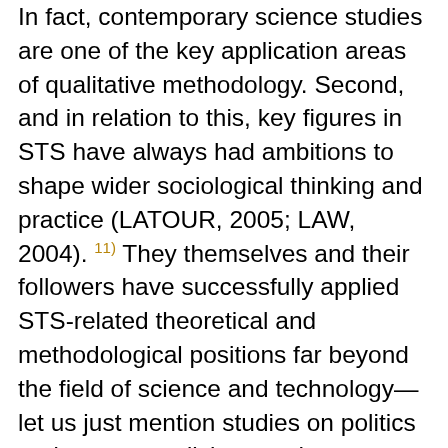In fact, contemporary science studies are one of the key application areas of qualitative methodology. Second, and in relation to this, key figures in STS have always had ambitions to shape wider sociological thinking and practice (LATOUR, 2005; LAW, 2004). 11) They themselves and their followers have successfully applied STS-related theoretical and methodological positions far beyond the field of science and technology—let us just mention studies on politics and power, medicine, art theory, economy, religious representation etc. (BARRY & SLATER, 2005; JONES & GALISON, 1998; LAW, 1991; LAW & HASSARD, 1999). 12) So- called actor-network theory, perhaps the most well-known approach originating in STS, has become a general social science theoretical-methodological framework comparable, e.g., to ethnomethodology, critical discourse analysis or phenomenology. Third, the symmetry principle, as formulated from within